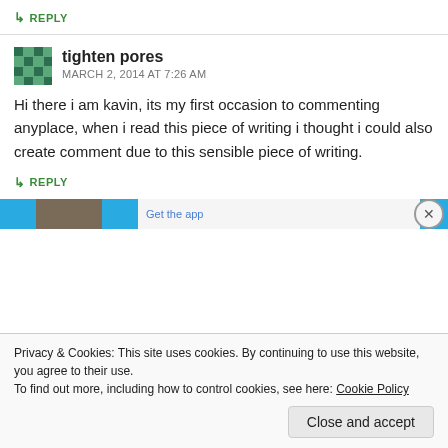↳ REPLY
tighten pores
MARCH 2, 2014 AT 7:26 AM
Hi there i am kavin, its my first occasion to commenting anyplace, when i read this piece of writing i thought i could also create comment due to this sensible piece of writing.
↳ REPLY
Privacy & Cookies: This site uses cookies. By continuing to use this website, you agree to their use.
To find out more, including how to control cookies, see here: Cookie Policy
Close and accept